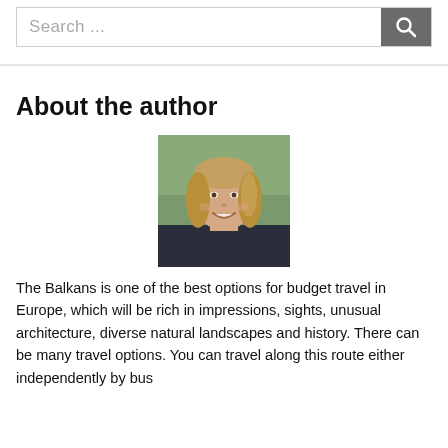Search ...
About the author
[Figure (photo): Author photo: a smiling woman with long blonde/brown hair outdoors]
The Balkans is one of the best options for budget travel in Europe, which will be rich in impressions, sights, unusual architecture, diverse natural landscapes and history. There can be many travel options. You can travel along this route either independently by bus